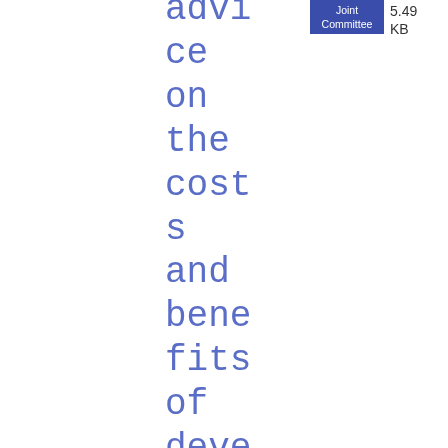advice on the costs and benefits of developing a coherent cyber resilience testing framework
Joint Committee
5.49 KB